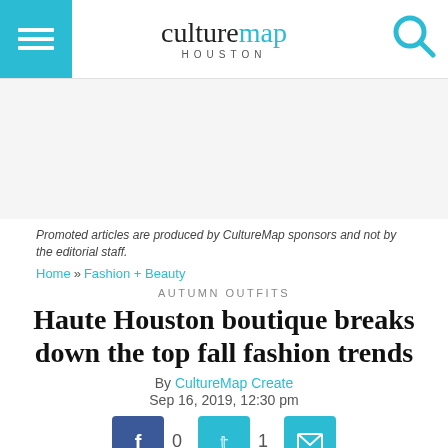culturemap HOUSTON
Promoted articles are produced by CultureMap sponsors and not by the editorial staff.
Home » Fashion + Beauty
AUTUMN OUTFITS
Haute Houston boutique breaks down the top fall fashion trends
By CultureMap Create
Sep 16, 2019, 12:30 pm